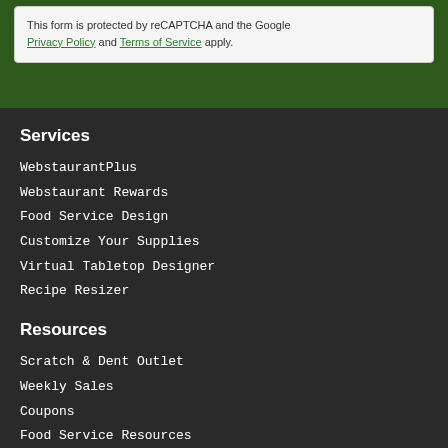This form is protected by reCAPTCHA and the Google Privacy Policy and Terms of Service apply.
Services
WebstaurantPlus
Webstaurant Rewards
Food Service Design
Customize Your Supplies
Virtual Tabletop Designer
Recipe Resizer
Resources
Scratch & Dent Outlet
Weekly Sales
Coupons
Food Service Resources
Blog
WebstaurantStore Reviews